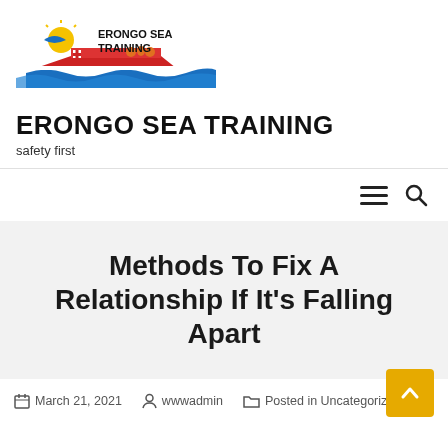[Figure (logo): Erongo Sea Training logo with boat, sun, and waves]
ERONGO SEA TRAINING
safety first
[Figure (other): Navigation bar with hamburger menu and search icon]
Methods To Fix A Relationship If It's Falling Apart
March 21, 2021   wwwadmin   Posted in Uncategorized